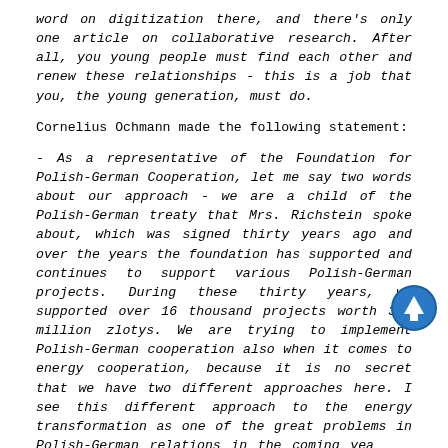word on digitization there, and there's only one article on collaborative research. After all, you young people must find each other and renew these relationships - this is a job that you, the young generation, must do.
Cornelius Ochmann made the following statement:
- As a representative of the Foundation for Polish-German Cooperation, let me say two words about our approach - we are a child of the Polish-German treaty that Mrs. Richstein spoke about, which was signed thirty years ago and over the years the foundation has supported and continues to support various Polish-German projects. During these thirty years, we supported over 16 thousand projects worth 312 million zlotys. We are trying to implement Polish-German cooperation also when it comes to energy cooperation, because it is no secret that we have two different approaches here. I see this different approach to the energy transformation as one of the great problems in Polish-German relations in the coming years and we, as a foundation, are interested in organizing a forum of young people, not just experts, because experts know each other, meet regularly and create their own analyzes.
When asked about the summary of the 30 years of the Foundation for Polish-German Cooperation, Mr. Ochmann